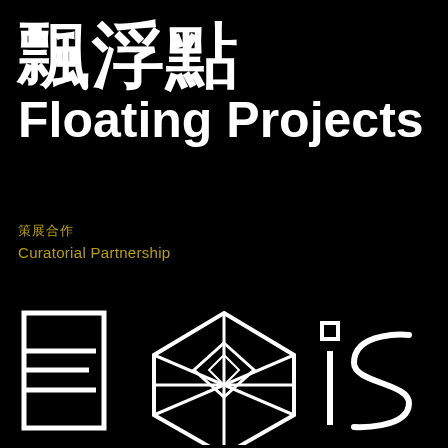飄浮點 Floating Projects
策展合作
Curatorial Partnership
[Figure (logo): EXiS logo composed of stylized letter E on left, a geometric diamond/cube shape in center, and 'iS' letters on right, all in white on black background]